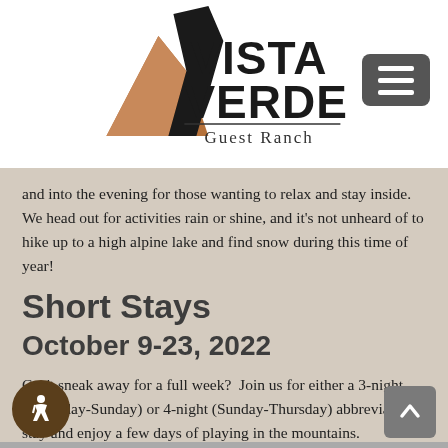[Figure (logo): Vista Verde Guest Ranch logo with mountain silhouette graphic and serif/bold text]
and into the evening for those wanting to relax and stay inside.  We head out for activities rain or shine, and it’s not unheard of to hike up to a high alpine lake and find snow during this time of year!
Short Stays
October 9-23, 2022
Can’t sneak away for a full week?  Join us for either a 3-night (Thursday-Sunday) or 4-night (Sunday-Thursday) abbreviated stay and enjoy a few days of playing in the mountains.